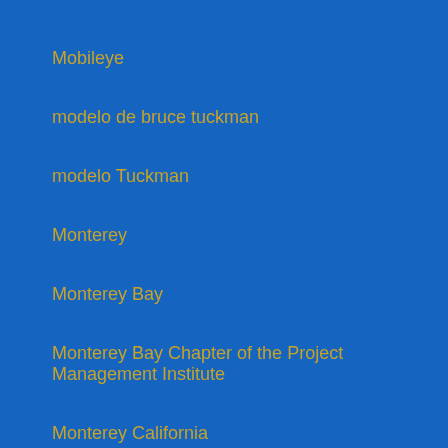Mobileye
modelo de bruce tuckman
modelo Tuckman
Monterey
Monterey Bay
Monterey Bay Chapter of the Project Management Institute
Monterey California
Montreal
MOS